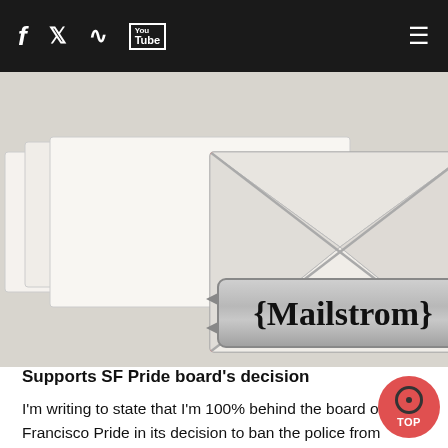f  [twitter]  [rss]  You Tube  [menu]
[Figure (illustration): Mailstrom logo illustration: an airmail envelope with red and blue diagonal stripes on border, gray X pattern on envelope flap, on a background of white envelopes. Below the envelope is a metallic badge-style label reading 'Mailstrom' in serif font with curly braces.]
Supports SF Pride board's decision
I'm writing to state that I'm 100% behind the board of San Francisco Pride in its decision to ban the police from marching in uniform ["LGBTQ first responders won't march in SF Pride parade," online, May 23]. As a queer man with